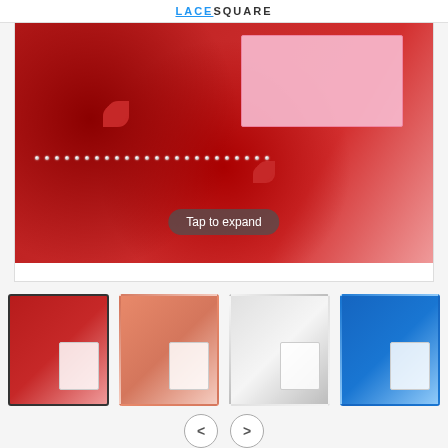LACESQUARE
[Figure (photo): Red lace fabric with pearl beading, 3D flowers, and rhinestones, with a pink fabric card in corner. Overlay text: Tap to expand]
[Figure (photo): Thumbnail 1: Red lace fabric with beading (selected)]
[Figure (photo): Thumbnail 2: Salmon/peach lace fabric with sequins]
[Figure (photo): Thumbnail 3: White/cream lace fabric with pearls]
[Figure (photo): Thumbnail 4: Royal blue lace fabric with rhinestones]